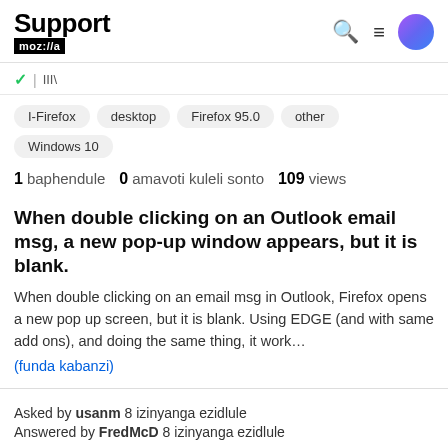Support mozilla
I-Firefox   desktop   Firefox 95.0   other   Windows 10
1 baphendule  0 amavoti kuleli sonto  109 views
When double clicking on an Outlook email msg, a new pop-up window appears, but it is blank.
When double clicking on an email msg in Outlook, Firefox opens a new pop up screen, but it is blank. Using EDGE (and with same add ons), and doing the same thing, it work... (funda kabanzi)
Asked by usanm 8 izinyanga ezidlule
Answered by FredMcD 8 izinyanga ezidlule